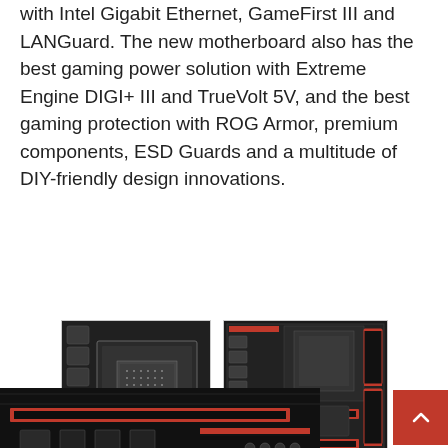with Intel Gigabit Ethernet, GameFirst III and LANGuard. The new motherboard also has the best gaming power solution with Extreme Engine DIGI+ III and TrueVolt 5V, and the best gaming protection with ROG Armor, premium components, ESD Guards and a multitude of DIY-friendly design innovations.
[Figure (photo): Close-up photo of an ASUS ROG motherboard showing CPU socket area with VRM components, dark PCB with silver/grey capacitors and inductors]
[Figure (photo): Full view of ASUS ROG motherboard with red and black color scheme, showing RAM slots, PCIe slots, and various connectors]
[Figure (photo): Partial close-up of ASUS ROG motherboard bottom section showing PCIe slots and board components in dark/red color scheme]